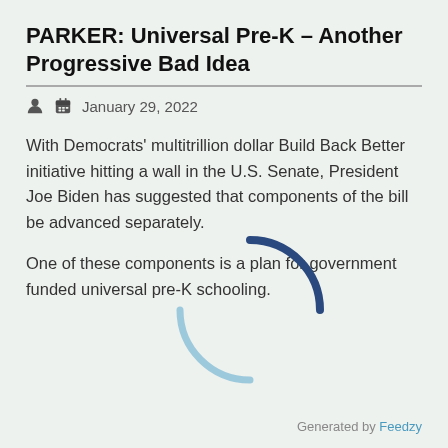PARKER: Universal Pre-K – Another Progressive Bad Idea
January 29, 2022
With Democrats' multitrillion dollar Build Back Better initiative hitting a wall in the U.S. Senate, President Joe Biden has suggested that components of the bill be advanced separately.
One of these components is a plan for government funded universal pre-K schooling.
Generated by Feedzy